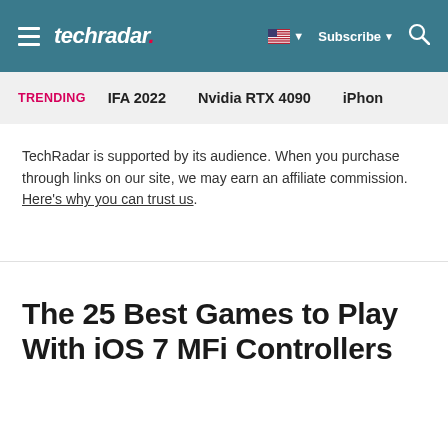techradar | Subscribe
TRENDING  IFA 2022  Nvidia RTX 4090  iPhon
TechRadar is supported by its audience. When you purchase through links on our site, we may earn an affiliate commission. Here's why you can trust us.
The 25 Best Games to Play With iOS 7 MFi Controllers